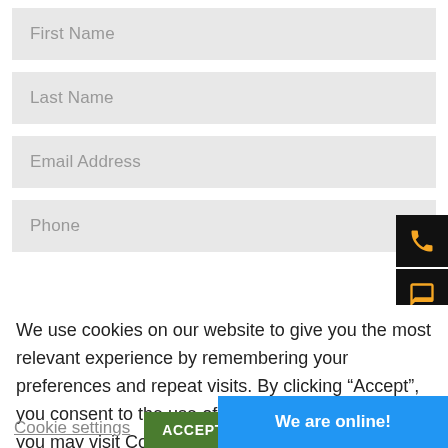First Name
Last Name
Email Address
Phone
We use cookies on our website to give you the most relevant experience by remembering your preferences and repeat visits. By clicking “Accept”, you consent to the use of ALL the cookies. However you may visit Cookie Settings to provide a controlled consent.
Cookie settings
We are online!